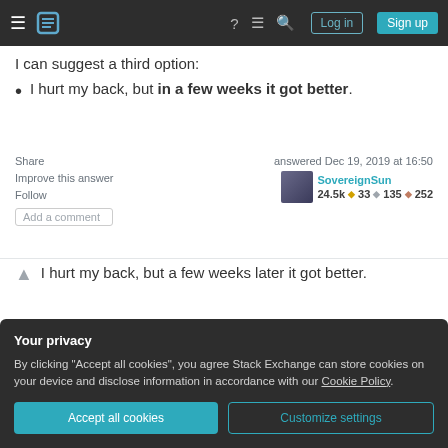Stack Exchange navigation — Log in / Sign up
I can suggest a third option:
I hurt my back, but in a few weeks it got better.
Share
Improve this answer
Follow
Add a comment
answered Dec 19, 2019 at 16:50
SovereignSun
24.5k 33 135 252
I hurt my back, but a few weeks later it got better.
Your privacy
By clicking "Accept all cookies", you agree Stack Exchange can store cookies on your device and disclose information in accordance with our Cookie Policy.
Accept all cookies
Customize settings
I hurt my back, but it got better after a few